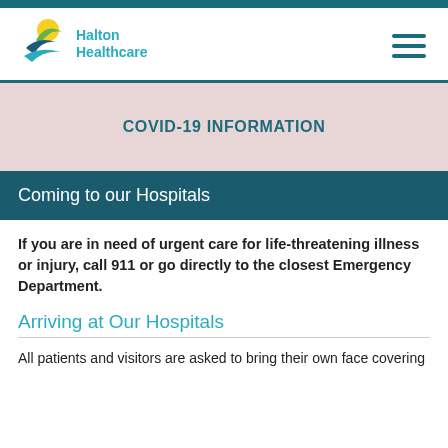[Figure (logo): Halton Healthcare logo with yellow sun, green wave, and blue wave graphic, with teal text 'Halton Healthcare']
COVID-19 INFORMATION
Coming to our Hospitals
If you are in need of urgent care for life-threatening illness or injury, call 911 or go directly to the closest Emergency Department.
Arriving at Our Hospitals
All patients and visitors are asked to bring their own face covering